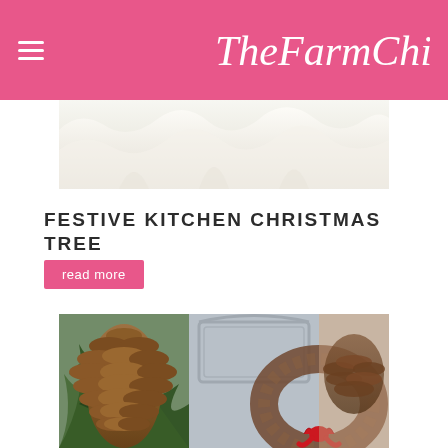The Farm Chicks.
[Figure (photo): White fabric or cloth with soft ruffled/wavy folds on a light background]
FESTIVE KITCHEN CHRISTMAS TREE
read more
[Figure (photo): Christmas wreath made of pine cones with a red bow, hanging on a light blue cabinet door; large pine cone with evergreen branches on the left side]